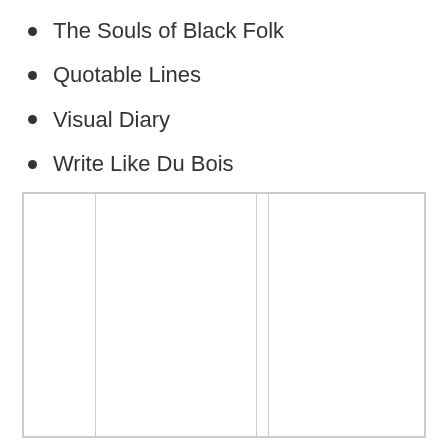The Souls of Black Folk
Quotable Lines
Visual Diary
Write Like Du Bois
|  |  |  |